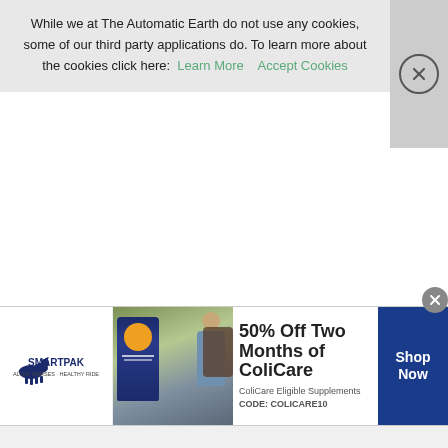While we at The Automatic Earth do not use any cookies, some of our third party applications do. To learn more about the cookies click here: Learn More   Accept Cookies
[Figure (infographic): SmartPak advertisement banner showing horse supplement product with a woman and horse photo, 50% Off Two Months of ColiCare promotion, ColiCare Eligible Supplements, CODE: COLICARE10, Shop Now button]